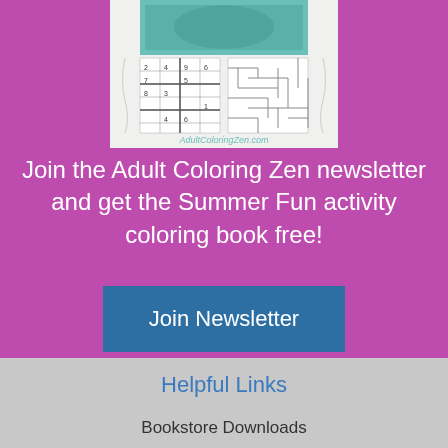[Figure (illustration): Cover of Summer Fun activity coloring book showing a sudoku grid and maze on a decorative background with 'AdultColoringZen.com' text]
Join the Adult Coloring Zen newsletter and get the Summer Fun activity coloring book free!
Join Newsletter
Helpful Links
Bookstore Downloads